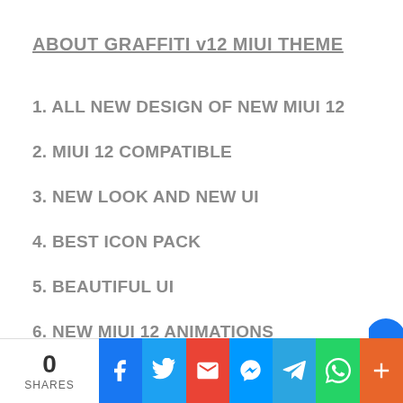ABOUT GRAFFITI v12 MIUI THEME
1. ALL NEW DESIGN OF NEW MIUI 12
2. MIUI 12 COMPATIBLE
3. NEW LOOK AND NEW UI
4. BEST ICON PACK
5. BEAUTIFUL UI
6. NEW MIUI 12 ANIMATIONS
0 SHARES | Facebook | Twitter | Gmail | Messenger | Telegram | WhatsApp | More